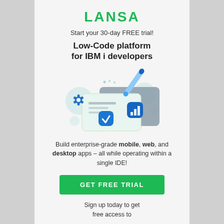LANSA
Start your 30-day FREE trial!
Low-Code platform for IBM i developers
[Figure (illustration): 3D illustration showing floating UI icons including a gear, checkmark badge, bar chart icon, and a stylus/pen over layered card panels with a teal/mint color scheme]
Build enterprise-grade mobile, web, and desktop apps – all while operating within a single IDE!
GET FREE TRIAL
Sign up today to get free access to